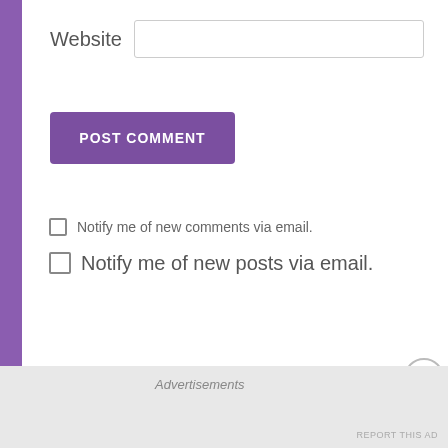Website
POST COMMENT
Notify me of new comments via email.
Notify me of new posts via email.
Advertisements
[Figure (illustration): Advertisement banner with light blue background, small white cross/star decorations, and circular avatar icons at the bottom]
Advertisements
REPORT THIS AD